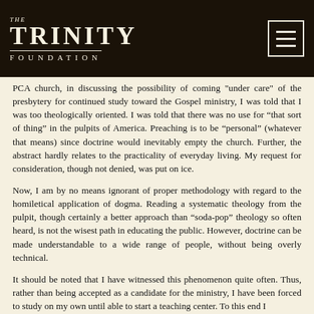THE TRINITY FOUNDATION
PCA church, in discussing the possibility of coming "under care" of the presbytery for continued study toward the Gospel ministry, I was told that I was too theologically oriented. I was told that there was no use for “that sort of thing” in the pulpits of America. Preaching is to be “personal” (whatever that means) since doctrine would inevitably empty the church. Further, the abstract hardly relates to the practicality of everyday living. My request for consideration, though not denied, was put on ice.
Now, I am by no means ignorant of proper methodology with regard to the homiletical application of dogma. Reading a systematic theology from the pulpit, though certainly a better approach than “soda-pop” theology so often heard, is not the wisest path in educating the public. However, doctrine can be made understandable to a wide range of people, without being overly technical.
It should be noted that I have witnessed this phenomenon quite often. Thus, rather than being accepted as a candidate for the ministry, I have been forced to study on my own until able to start a teaching center. To this end I